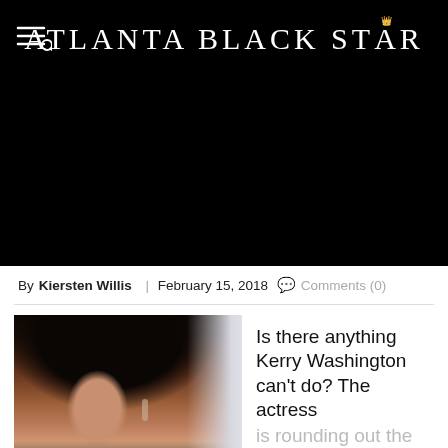Atlanta Black Star
[Figure (photo): Large hero image area, black background (image not rendered)]
By Kiersten Willis | February 15, 2018  Comments (0)
[Figure (photo): Photo of Kerry Washington at an event, wearing a white outfit with dangling earrings and long dark hair]
Is there anything Kerry Washington can't do? The actress is rounding out the final